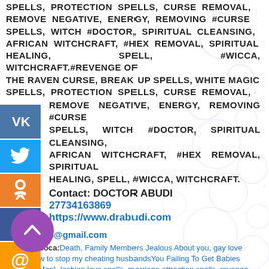SPELLS, PROTECTION SPELLS, CURSE REMOVAL, REMOVE NEGATIVE, ENERGY, REMOVING #CURSE SPELLS, WITCH #DOCTOR, SPIRITUAL CLEANSING, AFRICAN WITCHCRAFT, #HEX REMOVAL, SPIRITUAL HEALING, SPELL, #WICCA, WITCHCRAFT.#REVENGE OF THE RAVEN CURSE, BREAK UP SPELLS, WHITE MAGIC SPELLS, PROTECTION SPELLS, CURSE REMOVAL, REMOVE NEGATIVE, ENERGY, REMOVING #CURSE SPELLS, WITCH #DOCTOR, SPIRITUAL CLEANSING, AFRICAN WITCHCRAFT, #HEX REMOVAL, SPIRITUAL HEALING, SPELL, #WICCA, WITCHCRAFT.
Contact: DOCTOR ABUDI
27734163869
https://www.drabudi.com
drabudi076@gmail.com
Теги вопроса: Death, Family Members Jealous About you, gay love spells, how to stop my cheating husbandsYou Failing To Get Babies (ladies & Men), lesbian love spells, marriage attraction spells, revenge spells, stop cheating love spells, Wealth